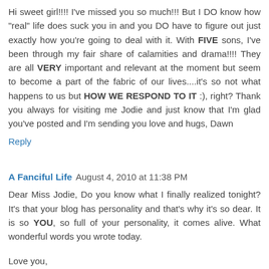Hi sweet girl!!!! I've missed you so much!!! But I DO know how "real" life does suck you in and you DO have to figure out just exactly how you're going to deal with it. With FIVE sons, I've been through my fair share of calamities and drama!!!! They are all VERY important and relevant at the moment but seem to become a part of the fabric of our lives....it's so not what happens to us but HOW WE RESPOND TO IT :), right? Thank you always for visiting me Jodie and just know that I'm glad you've posted and I'm sending you love and hugs, Dawn
Reply
A Fanciful Life  August 4, 2010 at 11:38 PM
Dear Miss Jodie, Do you know what I finally realized tonight? It's that your blog has personality and that's why it's so dear. It is so YOU, so full of your personality, it comes alive. What wonderful words you wrote today.
Love you,
Sharon and Miss Gracie :-)